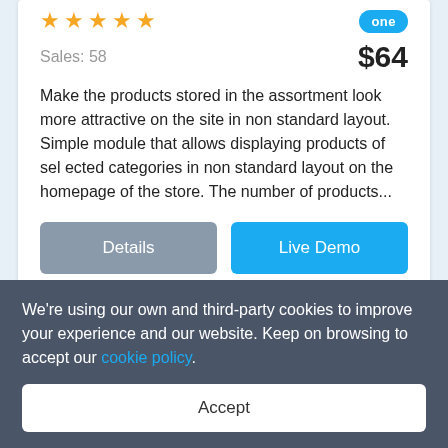[Figure (other): Five gold/orange star rating icons]
[Figure (other): Blue badge/label reading 'one']
Sales: 58
$64
Make the products stored in the assortment look more attractive on the site in non standard layout. Simple module that allows displaying products of sel ected categories in non standard layout on the homepage of the store. The number of products...
Details
Live Demo
We're using our own and third-party cookies to improve your experience and our website. Keep on browsing to accept our cookie policy.
Accept